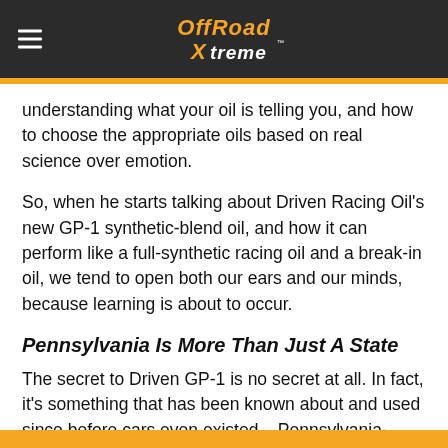Off Road Xtreme
understanding what your oil is telling you, and how to choose the appropriate oils based on real science over emotion.
So, when he starts talking about Driven Racing Oil's new GP-1 synthetic-blend oil, and how it can perform like a full-synthetic racing oil and a break-in oil, we tend to open both our ears and our minds, because learning is about to occur.
Pennsylvania Is More Than Just A State
The secret to Driven GP-1 is no secret at all. In fact, it's something that has been known about and used since before cars even existed – Pennsylvania-Grade Crude Oil. “Pennsylvania-grade base oil is derived from the sweet crude oil primarily found in the